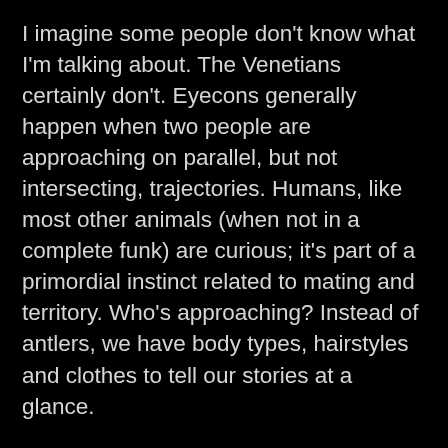I imagine some people don't know what I'm talking about. The Venetians certainly don't. Eyecons generally happen when two people are approaching on parallel, but not intersecting, trajectories. Humans, like most other animals (when not in a complete funk) are curious; it's part of a primordial instinct related to mating and territory. Who's approaching? Instead of antlers, we have body types, hairstyles and clothes to tell our stories at a glance.
Precisely what happens is as follows: eye contact (foundation building) followed by a nod of various amplitudes, not a wink. The nod occurs a microsecond after the eye contact. The...